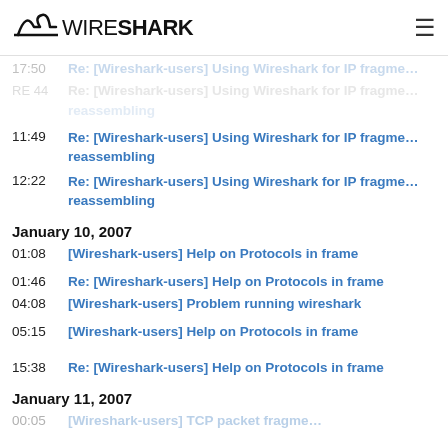Wireshark
17:50 Re: [Wireshark-users] Using Wireshark for IP fragmentation reassembling
RE 44 Re: [Wireshark-users] Using Wireshark for IP fragmentation reassembling
11:49 Re: [Wireshark-users] Using Wireshark for IP fragmentation reassembling
12:22 Re: [Wireshark-users] Using Wireshark for IP fragmentation reassembling
January 10, 2007
01:08 [Wireshark-users] Help on Protocols in frame
01:46 Re: [Wireshark-users] Help on Protocols in frame
04:08 [Wireshark-users] Problem running wireshark
05:15 [Wireshark-users] Help on Protocols in frame
15:38 Re: [Wireshark-users] Help on Protocols in frame
January 11, 2007